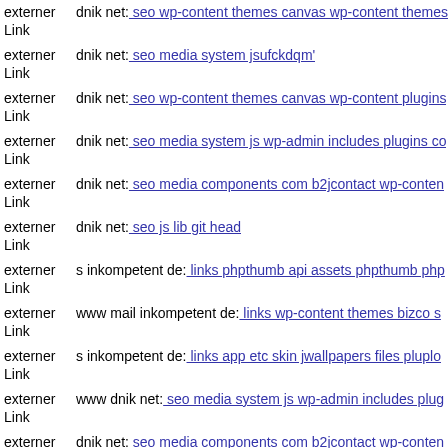externer Link dnik net: seo wp-content themes canvas wp-content themes
externer Link dnik net: seo media system jsufckdqm'
externer Link dnik net: seo wp-content themes canvas wp-content plugins
externer Link dnik net: seo media system js wp-admin includes plugins co
externer Link dnik net: seo media components com b2jcontact wp-conten
externer Link dnik net: seo js lib git head
externer Link s inkompetent de: links phpthumb api assets phpthumb php
externer Link www mail inkompetent de: links wp-content themes bizco s
externer Link s inkompetent de: links app etc skin jwallpapers files pluplo
externer Link www dnik net: seo media system js wp-admin includes plug
externer Link dnik net: seo media components com b2jcontact wp-conten
externer Link